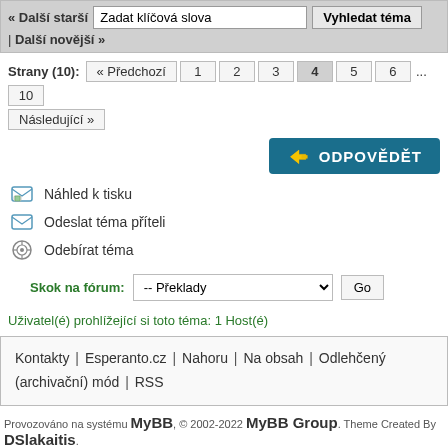« Další starší | Zadat klíčová slova | Vyhledat téma | Další novější »
Strany (10): « Předchozí 1 2 3 4 5 6 ... 10 Následující »
[Figure (other): ODPOVĚDĚT button - teal/dark blue reply button with pencil icon]
Náhled k tisku
Odeslat téma příteli
Odebírat téma
Skok na fórum: -- Překlady  Go
Uživatel(é) prohlížející si toto téma: 1 Host(é)
Kontakty | Esperanto.cz | Nahoru | Na obsah | Odlehčený (archivační) mód | RSS
Provozováno na systému MyBB, © 2002-2022 MyBB Group. Theme Created By DSlakaitis.